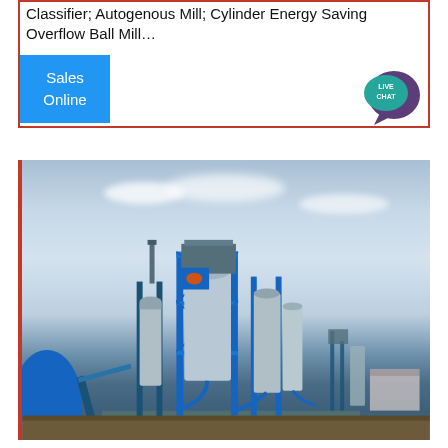Classifier; Autogenous Mill; Cylinder Energy Saving Overflow Ball Mill…
[Figure (other): Blue 'Sales Online' button and live chat speech bubble widget]
[Figure (photo): Industrial mineral processing plant with large cylindrical silos, blue steel framework, conveyor belt, and ancillary equipment under a partly cloudy sky]